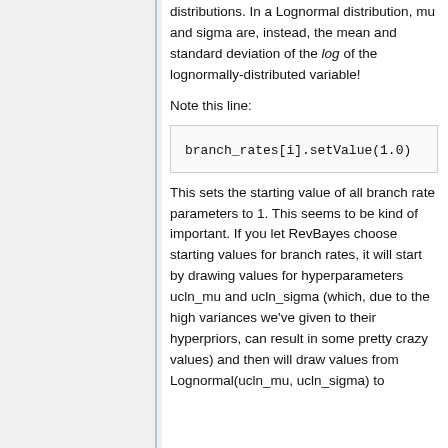distributions. In a Lognormal distribution, mu and sigma are, instead, the mean and standard deviation of the log of the lognormally-distributed variable!
Note this line:
This sets the starting value of all branch rate parameters to 1. This seems to be kind of important. If you let RevBayes choose starting values for branch rates, it will start by drawing values for hyperparameters ucln_mu and ucln_sigma (which, due to the high variances we've given to their hyperpriors, can result in some pretty crazy values) and then will draw values from Lognormal(ucln_mu, ucln_sigma) to